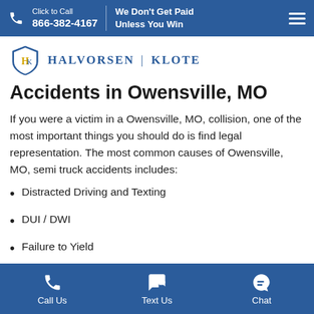Click to Call 866-382-4167 | We Don't Get Paid Unless You Win
[Figure (logo): Halvorsen Klote law firm logo with shield emblem]
Accidents in Owensville, MO
If you were a victim in a Owensville, MO, collision, one of the most important things you should do is find legal representation. The most common causes of Owensville, MO, semi truck accidents includes:
Distracted Driving and Texting
DUI / DWI
Failure to Yield
Call Us | Text Us | Chat